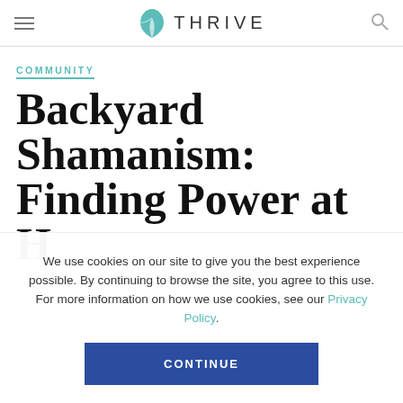THRIVE
COMMUNITY
Backyard Shamanism: Finding Power at H…
We use cookies on our site to give you the best experience possible. By continuing to browse the site, you agree to this use. For more information on how we use cookies, see our Privacy Policy.
CONTINUE